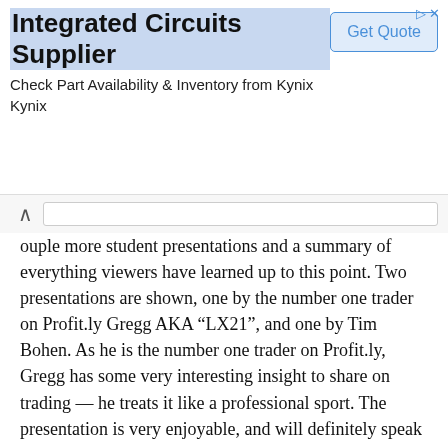[Figure (other): Advertisement banner for Integrated Circuits Supplier - Kynix. Title: 'Integrated Circuits Supplier'. Body: 'Check Part Availability & Inventory from Kynix Kynix'. Button: 'Get Quote'.]
ouple more student presentations and a summary of everything viewers have learned up to this point. Two presentations are shown, one by the number one trader on Profit.ly Gregg AKA “LX21”, and one by Tim Bohen. As he is the number one trader on Profit.ly, Gregg has some very interesting insight to share on trading — he treats it like a professional sport. The presentation is very enjoyable, and will definitely speak to viewers’ competitive sides.
The final student presentation is given by Tim Bohen. In the introduction segment, Tim notes that Mr. Bohen isn’t the richest student he has, but that he is a fantastic role model for part time